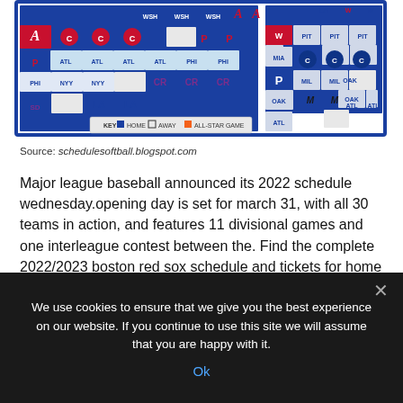[Figure (screenshot): MLB 2022 schedule grid showing team logos and abbreviations (WSH, ATL, PHI, NYY, MIA, PIT, MIL, OAK, LAD, WAS) arranged in a blue-bordered calendar grid. Includes a KEY legend showing HOME (filled), AWAY (outlined), ALL-STAR GAME (orange).]
Source: schedulesoftball.blogspot.com
Major league baseball announced its 2022 schedule wednesday.opening day is set for march 31, with all 30 teams in action, and features 11 divisional games and one interleague contest between the. Find the complete 2022/2023 boston red sox schedule and tickets for home games at fenway park.
We use cookies to ensure that we give you the best experience on our website. If you continue to use this site we will assume that you are happy with it. Ok